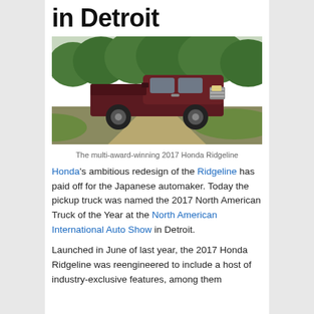in Detroit
[Figure (photo): A dark red/maroon 2017 Honda Ridgeline pickup truck driving on a dirt road with green trees and grass in the background.]
The multi-award-winning 2017 Honda Ridgeline
Honda's ambitious redesign of the Ridgeline has paid off for the Japanese automaker. Today the pickup truck was named the 2017 North American Truck of the Year at the North American International Auto Show in Detroit.
Launched in June of last year, the 2017 Honda Ridgeline was reengineered to include a host of industry-exclusive features, among them